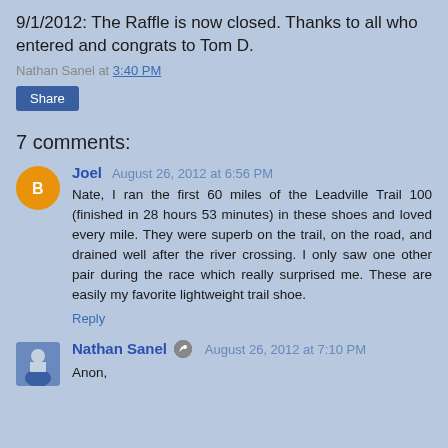9/1/2012:  The Raffle is now closed.  Thanks to all who entered and congrats to Tom D.
Nathan Sanel at 3:40 PM
Share
7 comments:
Joel  August 26, 2012 at 6:56 PM
Nate, I ran the first 60 miles of the Leadville Trail 100 (finished in 28 hours 53 minutes) in these shoes and loved every mile. They were superb on the trail, on the road, and drained well after the river crossing. I only saw one other pair during the race which really surprised me. These are easily my favorite lightweight trail shoe.
Reply
Nathan Sanel  August 26, 2012 at 7:10 PM
Anon,